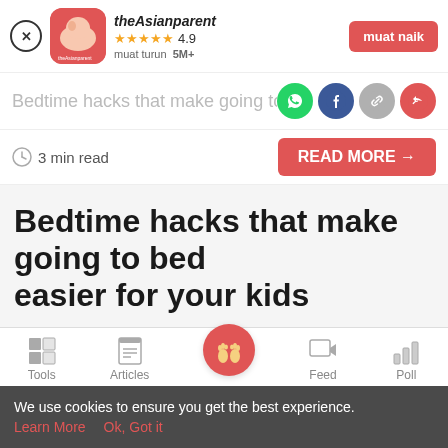[Figure (screenshot): App banner with close button, theAsianparent app icon, name, 4.9 star rating, 5M+ downloads, and muat naik button]
Bedtime hacks that make going to be
[Figure (infographic): Social share icons: WhatsApp, Facebook, Link, Share]
3 min read
READ MORE →
Bedtime hacks that make going to bed easier for your kids
[Figure (infographic): Bottom navigation bar with Tools, Articles, home (baby feet icon), Feed, Poll]
We use cookies to ensure you get the best experience.
Learn More   Ok, Got it